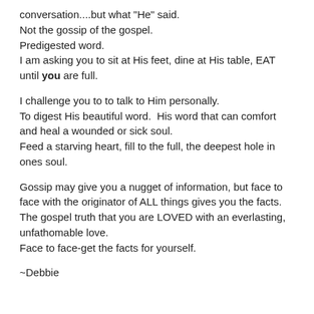conversation....but what "He" said.
Not the gossip of the gospel.
Predigested word.
I am asking you to sit at His feet, dine at His table, EAT until you are full.
I challenge you to to talk to Him personally.
To digest His beautiful word.  His word that can comfort and heal a wounded or sick soul.
Feed a starving heart, fill to the full, the deepest hole in ones soul.
Gossip may give you a nugget of information, but face to face with the originator of ALL things gives you the facts.
The gospel truth that you are LOVED with an everlasting, unfathomable love.
Face to face-get the facts for yourself.
~Debbie